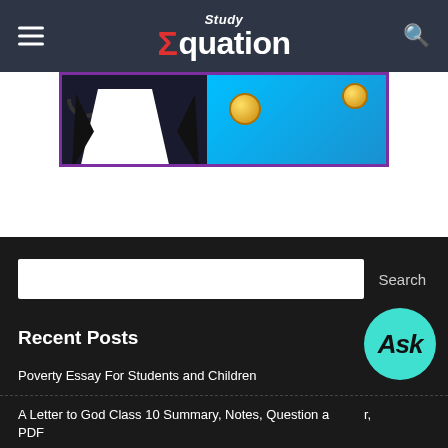Study Equation
[Figure (illustration): Banner image showing a figure in a suit on dark background on the left, and a cyan/blue background with gold coins on the right, bordered in purple]
Search
Recent Posts
Poverty Essay For Students and Children
A Letter to God Class 10 Summary, Notes, Question and Answer PDF
Find the add recent Posts ...